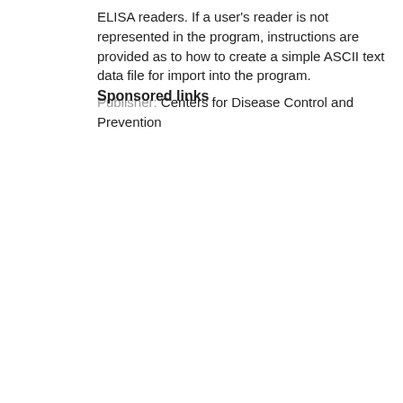ELISA readers. If a user's reader is not represented in the program, instructions are provided as to how to create a simple ASCII text data file for import into the program. Publisher: Centers for Disease Control and Prevention
Sponsored links